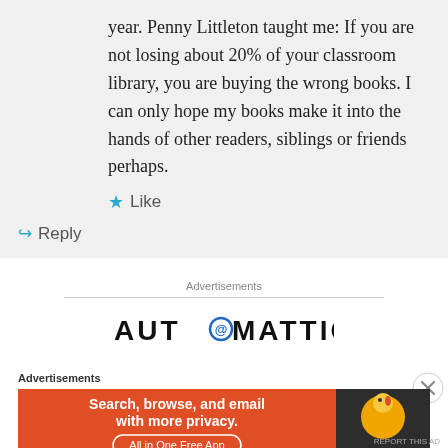year. Penny Littleton taught me: If you are not losing about 20% of your classroom library, you are buying the wrong books. I can only hope my books make it into the hands of other readers, siblings or friends perhaps.
★ Like
↪ Reply
Advertisements
[Figure (logo): Automattic logo with circular @ symbol]
Advertisements
[Figure (infographic): DuckDuckGo advertisement banner: Search, browse, and email with more privacy. All in One Free App. Orange background with DuckDuckGo logo on dark right panel.]